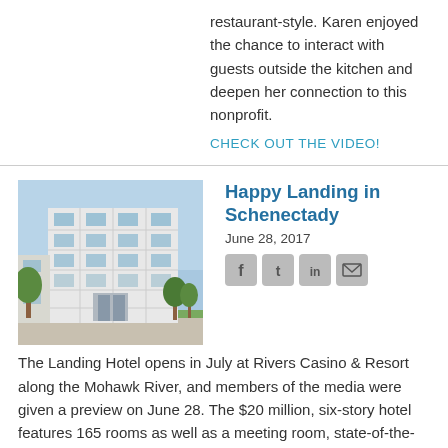restaurant-style. Karen enjoyed the chance to interact with guests outside the kitchen and deepen her connection to this nonprofit.
CHECK OUT THE VIDEO!
Happy Landing in Schenectady
June 28, 2017
[Figure (photo): Exterior photograph of The Landing Hotel building, a modern multi-story structure with glass and white facade, surrounded by trees.]
[Figure (other): Social media share icons: Facebook, Twitter, LinkedIn, Email]
The Landing Hotel opens in July at Rivers Casino & Resort along the Mohawk River, and members of the media were given a preview on June 28. The $20 million, six-story hotel features 165 rooms as well as a meeting room, state-of-the-art fitness center, and a bar and lounge. Guests of The Landing Hotel will have access to in-room spa services as